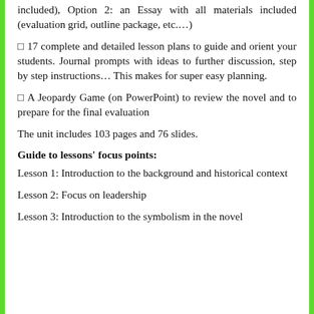included), Option 2: an Essay with all materials included (evaluation grid, outline package, etc.…)
□ 17 complete and detailed lesson plans to guide and orient your students. Journal prompts with ideas to further discussion, step by step instructions… This makes for super easy planning.
□ A Jeopardy Game (on PowerPoint) to review the novel and to prepare for the final evaluation
The unit includes 103 pages and 76 slides.
Guide to lessons' focus points:
Lesson 1: Introduction to the background and historical context
Lesson 2: Focus on leadership
Lesson 3: Introduction to the symbolism in the novel